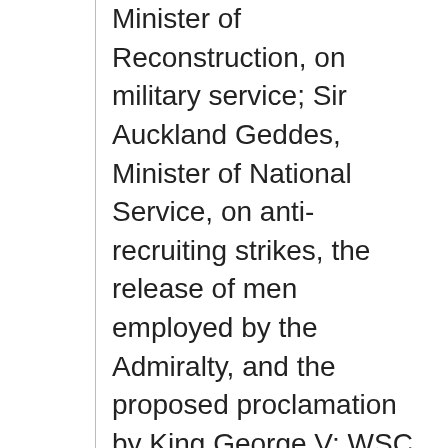Minister of Reconstruction, on military service; Sir Auckland Geddes, Minister of National Service, on anti-recruiting strikes, the release of men employed by the Admiralty, and the proposed proclamation by King George V; WSC, Minister of Munitions, on the Eastern Front, manpower and munitions, and "certain hypothetical contingencies" on war strategy; [1st] Lord Bertie [British Ambassador to France]; Sir...
Dates: 02 Apr 1918 - 26